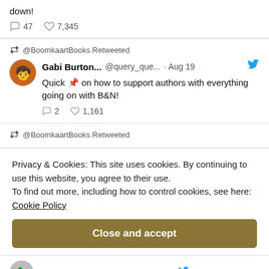down!
47   7,345
@BoomkaartBooks Retweeted
Gabi Burton...  @query_que...  · Aug 19
Quick 📌 on how to support authors with everything going on with B&N!
2   1,161
@BoomkaartBooks Retweeted
Privacy & Cookies: This site uses cookies. By continuing to use this website, you agree to their use. To find out more, including how to control cookies, see here: Cookie Policy
Close and accept
@BOOMkaar... @bookaar... · Aug 19